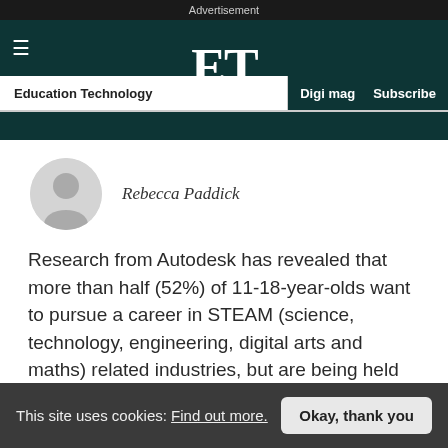Advertisement
ET
Education Technology | Digi mag | Subscribe
[Figure (photo): Generic user avatar placeholder circle with silhouette icon]
Rebecca Paddick
Research from Autodesk has revealed that more than half (52%) of 11-18-year-olds want to pursue a career in STEAM (science, technology, engineering, digital arts and maths) related industries, but are being held back from doing so
This site uses cookies: Find out more.  Okay, thank you